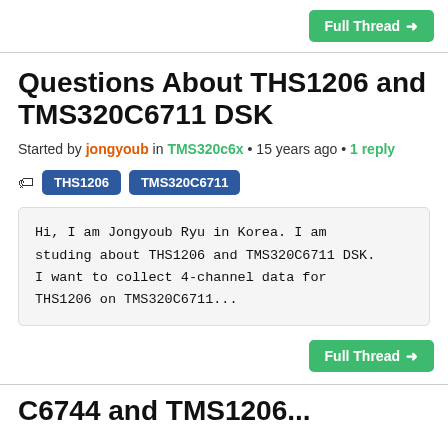Full Thread →
Questions About THS1206 and TMS320C6711 DSK
Started by jongyoub in TMS320c6x • 15 years ago • 1 reply
THS1206  TMS320C6711
Hi, I am Jongyoub Ryu in Korea. I am studing about THS1206 and TMS320C6711 DSK. I want to collect 4-channel data for THS1206 on TMS320C6711...
Full Thread →
C6744 and TMS1206...